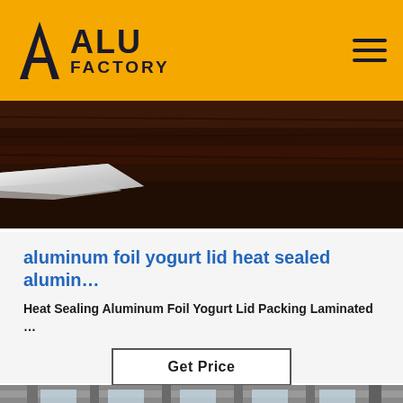ALU FACTORY
[Figure (photo): Partial view of aluminum foil product on dark wooden surface]
aluminum foil yogurt lid heat sealed alumin…
Heat Sealing Aluminum Foil Yogurt Lid Packing Laminated …
Get Price
[Figure (photo): Interior of a large industrial warehouse with aluminum coil rolls stacked on floor, steel roof structure visible, TOP badge in corner]